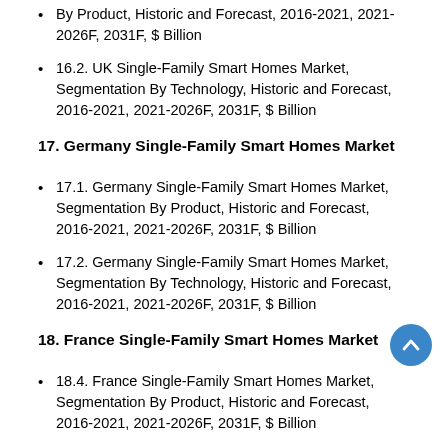By Product, Historic and Forecast, 2016-2021, 2021-2026F, 2031F, $ Billion
16.2. UK Single-Family Smart Homes Market, Segmentation By Technology, Historic and Forecast, 2016-2021, 2021-2026F, 2031F, $ Billion
17. Germany Single-Family Smart Homes Market
17.1. Germany Single-Family Smart Homes Market, Segmentation By Product, Historic and Forecast, 2016-2021, 2021-2026F, 2031F, $ Billion
17.2. Germany Single-Family Smart Homes Market, Segmentation By Technology, Historic and Forecast, 2016-2021, 2021-2026F, 2031F, $ Billion
18. France Single-Family Smart Homes Market
18.4. France Single-Family Smart Homes Market, Segmentation By Product, Historic and Forecast, 2016-2021, 2021-2026F, 2031F, $ Billion
18.5. France Single-Family Smart Homes Market